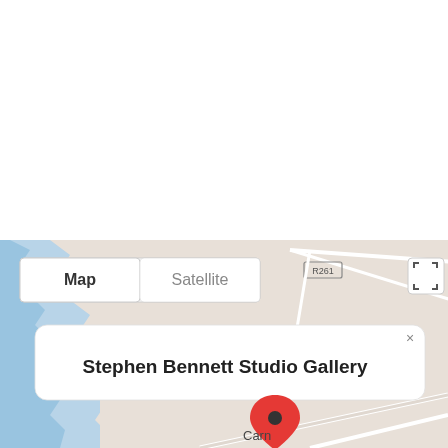[Figure (map): Google Maps screenshot showing a map view with Map/Satellite toggle buttons, a location pin at 'Carn', and a popup label reading 'Stephen Bennett Studio Gallery'. Road R261 is visible. The area shows a coastal/water region in blue on the left.]